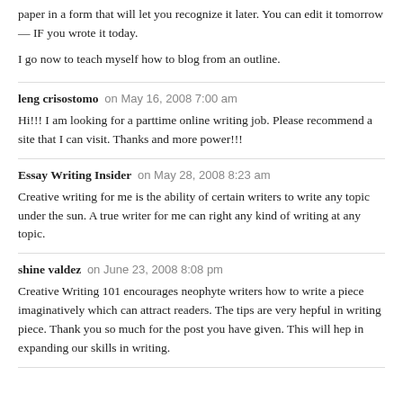paper in a form that will let you recognize it later. You can edit it tomorrow — IF you wrote it today.
I go now to teach myself how to blog from an outline.
leng crisostomo on May 16, 2008 7:00 am
Hi!!! I am looking for a parttime online writing job. Please recommend a site that I can visit. Thanks and more power!!!
Essay Writing Insider on May 28, 2008 8:23 am
Creative writing for me is the ability of certain writers to write any topic under the sun. A true writer for me can right any kind of writing at any topic.
shine valdez on June 23, 2008 8:08 pm
Creative Writing 101 encourages neophyte writers how to write a piece imaginatively which can attract readers. The tips are very hepful in writing piece. Thank you so much for the post you have given. This will hep in expanding our skills in writing.